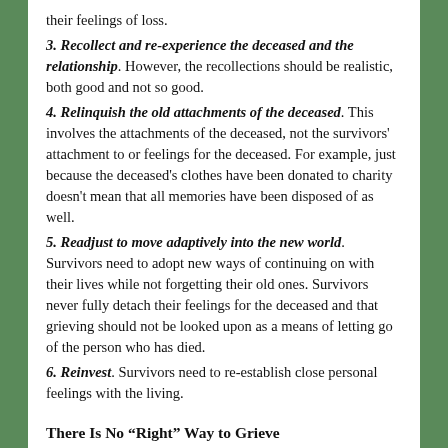their feelings of loss.
3. Recollect and re-experience the deceased and the relationship. However, the recollections should be realistic, both good and not so good.
4. Relinquish the old attachments of the deceased. This involves the attachments of the deceased, not the survivors' attachment to or feelings for the deceased. For example, just because the deceased's clothes have been donated to charity doesn't mean that all memories have been disposed of as well.
5. Readjust to move adaptively into the new world. Survivors need to adopt new ways of continuing on with their lives while not forgetting their old ones. Survivors never fully detach their feelings for the deceased and that grieving should not be looked upon as a means of letting go of the person who has died.
6. Reinvest. Survivors need to re-establish close personal feelings with the living.
There Is No “Right” Way to Grieve
Survivors need to be patient with themselves. Mourning is